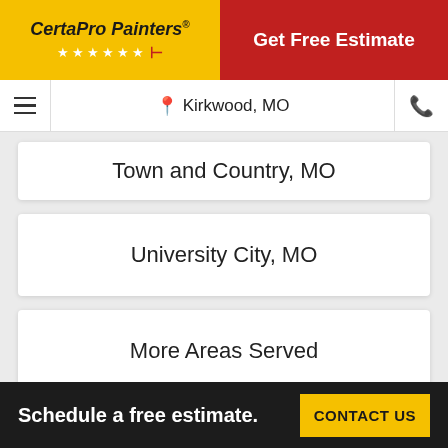CertaPro Painters® | Get Free Estimate
Kirkwood, MO
Town and Country, MO
University City, MO
More Areas Served
Schedule a free estimate. CONTACT US